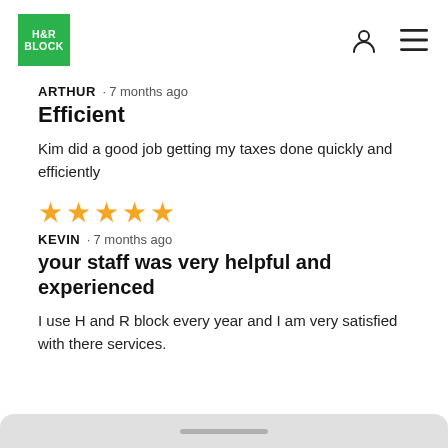[Figure (logo): H&R Block green square logo with white text]
ARTHUR · 7 months ago
Efficient
Kim did a good job getting my taxes done quickly and efficiently
[Figure (other): 5 gold stars rating]
KEVIN · 7 months ago
your staff was very helpful and experienced
I use H and R block every year and I am very satisfied with there services.